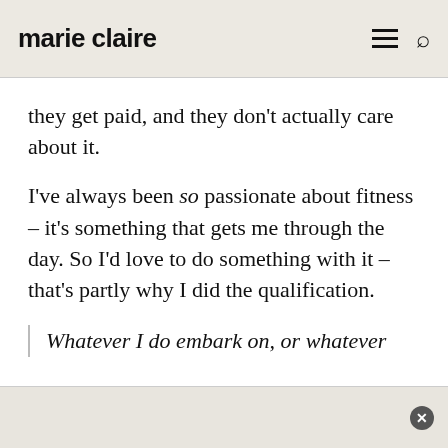marie claire
they get paid, and they don't actually care about it.
I've always been so passionate about fitness – it's something that gets me through the day. So I'd love to do something with it – that's partly why I did the qualification.
Whatever I do embark on, or whatever